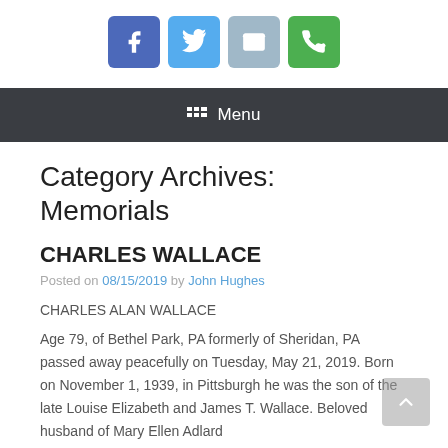[Figure (other): Social media share buttons: Facebook (blue), Twitter (light blue), Email (grey-blue), Phone (green)]
Menu
Category Archives: Memorials
CHARLES WALLACE
Posted on 08/15/2019 by John Hughes
CHARLES ALAN WALLACE
Age 79, of Bethel Park, PA formerly of Sheridan, PA passed away peacefully on Tuesday, May 21, 2019. Born on November 1, 1939, in Pittsburgh he was the son of the late Louise Elizabeth and James T. Wallace. Beloved husband of Mary Ellen Adlard